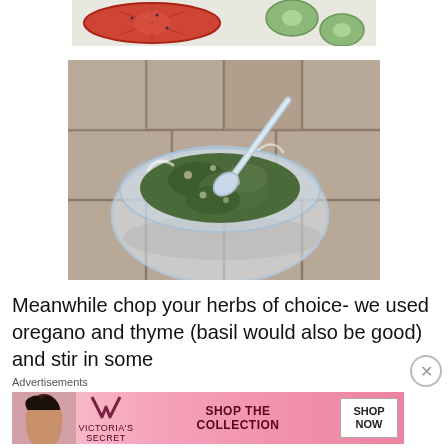[Figure (photo): Partial top view of sliced tomatoes and zucchini/cucumber arranged for grilling]
[Figure (photo): Glass bowl containing chopped green herbs mixture (oregano and thyme) with a spoon, placed on stone tile surface]
Meanwhile chop your herbs of choice- we used oregano and thyme (basil would also be good)  and stir in some
Advertisements
[Figure (other): Victoria's Secret advertisement banner - SHOP THE COLLECTION / SHOP NOW]